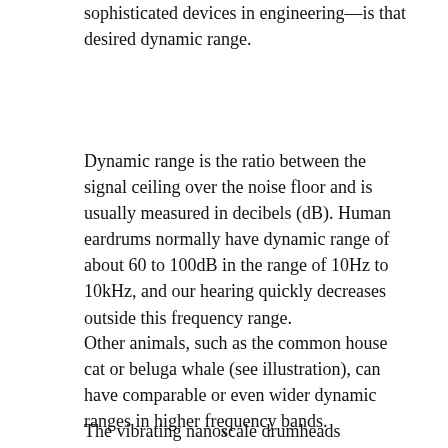sophisticated devices in engineering—is that desired dynamic range.
Dynamic range is the ratio between the signal ceiling over the noise floor and is usually measured in decibels (dB). Human eardrums normally have dynamic range of about 60 to 100dB in the range of 10Hz to 10kHz, and our hearing quickly decreases outside this frequency range.
Other animals, such as the common house cat or beluga whale (see illustration), can have comparable or even wider dynamic ranges in higher frequency bands.
The vibrating nanoscale drumheads developed by Feng
x